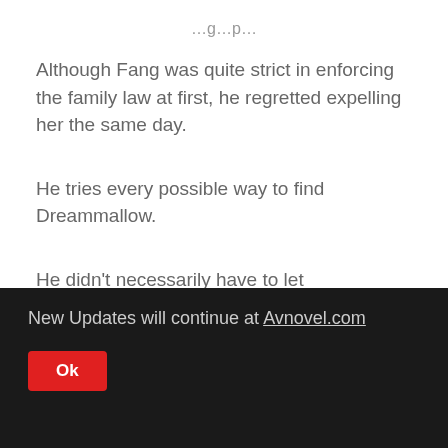...g...p...
Although Fang was quite strict in enforcing the family law at first, he regretted expelling her the same day.
He tries every possible way to find Dreammallow.
He didn't necessarily have to let Dreamhouse come back, just to let him know that his precious daughter was still alive and well.
New Updates will continue at Avnovel.com
Ok